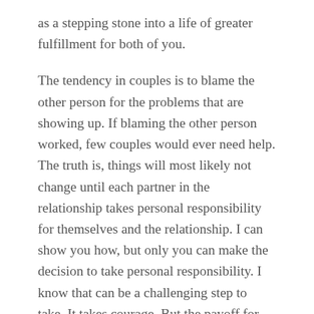as a stepping stone into a life of greater fulfillment for both of you.
The tendency in couples is to blame the other person for the problems that are showing up. If blaming the other person worked, few couples would ever need help. The truth is, things will most likely not change until each partner in the relationship takes personal responsibility for themselves and the relationship. I can show you how, but only you can make the decision to take personal responsibility. I know that can be a challenging step to take. It takes courage. But the payoff for doing so is tremendous. The good news is that I am here to support you every step of the way. Chances are I have been through what you are going through or something very similar. We can